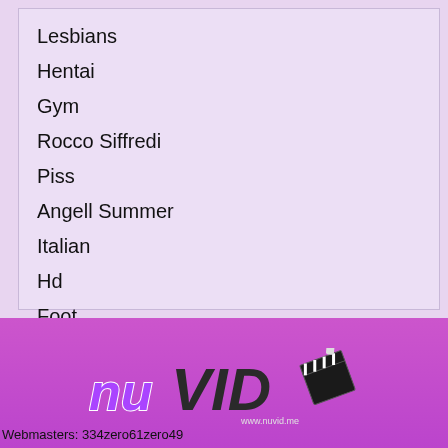Lesbians
Hentai
Gym
Rocco Siffredi
Piss
Angell Summer
Italian
Hd
Foot
Ava Addams
[Figure (logo): nuVid logo with clapperboard and www.nuvid.me text]
Webmasters: 334zero61zero49